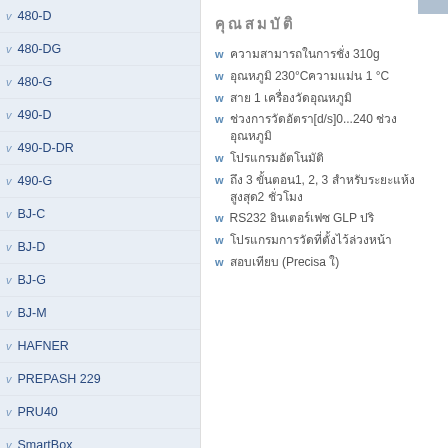480-D
480-DG
480-G
490-D
490-D-DR
490-G
BJ-C
BJ-D
BJ-G
BJ-M
HAFNER
PREPASH 229
PRU40
SmartBox
XM120-HR
XM50
XM60
XM60-HR
XM66 (active)
XR-A
คุณสมบัติ
ความสามารถในการชั่ง 310g
อุณหภูมิ 230°Cความแม่น 1 °C
สาย 1 เครื่องวัดอุณหภูมิ
ช่วงการวัดอัตรา[d/s]0...240 ช่วงอุณหภูมิ
โปรแกรมอัตโนมัติ
ถึง 3 ขั้นตอน1, 2, 3 สำหรับระยะแห้งสูงสุด2 ชั่วโมง
RS232 อินเตอร์เฟซ GLP ปริ
โปรแกรมการวัดที่ตั้งไว้ล่วงหน้า
สอบเทียบ (Precisa ใ)